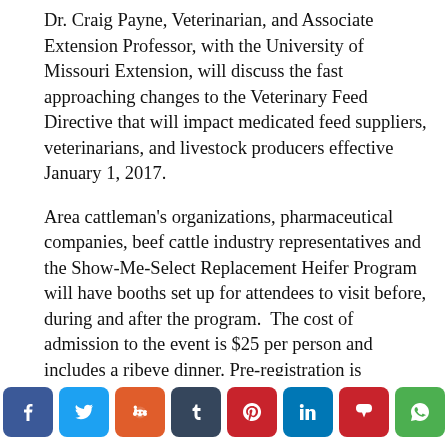Dr. Craig Payne, Veterinarian, and Associate Extension Professor, with the University of Missouri Extension, will discuss the fast approaching changes to the Veterinary Feed Directive that will impact medicated feed suppliers, veterinarians, and livestock producers effective January 1, 2017.
Area cattleman's organizations, pharmaceutical companies, beef cattle industry representatives and the Show-Me-Select Replacement Heifer Program will have booths set up for attendees to visit before, during and after the program.  The cost of admission to the event is $25 per person and includes a ribeye dinner. Pre-registration is requested by November 2, 2016. For those companies or individuals wanting to display their products and information and producers wanting to display some of their animals for area cattleman to
[Figure (other): Row of 8 social sharing buttons: Facebook, Twitter, Reddit, Tumblr, Pinterest, LinkedIn, Parler, WhatsApp]